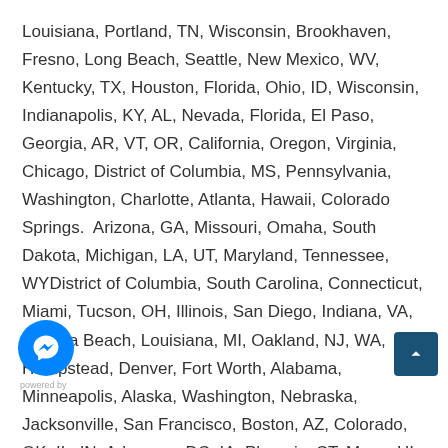Louisiana, Portland, TN, Wisconsin, Brookhaven, Fresno, Long Beach, Seattle, New Mexico, WV, Kentucky, TX, Houston, Florida, Ohio, ID, Wisconsin, Indianapolis, KY, AL, Nevada, Florida, El Paso, Georgia, AR, VT, OR, California, Oregon, Virginia, Chicago, District of Columbia, MS, Pennsylvania, Washington, Charlotte, Atlanta, Hawaii, Colorado Springs.  Arizona, GA, Missouri, Omaha, South Dakota, Michigan, LA, UT, Maryland, Tennessee, WYDistrict of Columbia, South Carolina, Connecticut, Miami, Tucson, OH, Illinois, San Diego, Indiana, VA, Virginia Beach, Louisiana, MI, Oakland, NJ, WA, Hempstead, Denver, Fort Worth, Alabama, Minneapolis, Alaska, Washington, Nebraska, Jacksonville, San Francisco, Boston, AZ, Colorado, OK, IL, IN, Arkansas, DC, IA, Phoenix, CT, Mesa, HI, WI, New Hampshire, Austin, North Carolina, Maryland, Los Angeles, Kansas City, Missouri, Utah, San Jose, MT, Kansas, NE, Cleveland, Dallas, Nebraska, SC, CA, NV, Sacramento, Las Vegas, Nevada, Texas, New Mexico, Oregon, MA, NC, Oklahoma City, Massachusetts, NH, Nebraska, New Jersey, DE, Milwaukee, Arizona, Nashville,